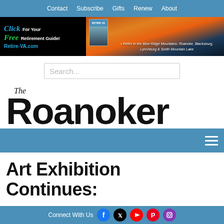Contact  Subscribe  Gifts  Renew  About
[Figure (infographic): Advertisement banner: Click For Your Free Retirement Guide! Retire-VA.com with image of retirement magazine and Blue Ridge Mountains sunset]
Search...
The Roanoker
[Figure (other): Blue navigation strip with hamburger menu icon]
Art Exhibition Continues:
Connect With Us [Facebook] [Twitter] [YouTube] [Pinterest] [Instagram]